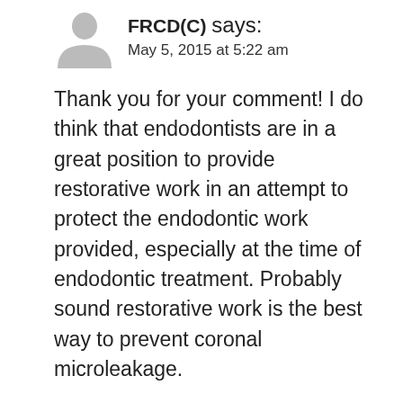[Figure (illustration): Grey placeholder avatar icon (person silhouette)]
FRCD(C) says:
May 5, 2015 at 5:22 am
Thank you for your comment! I do think that endodontists are in a great position to provide restorative work in an attempt to protect the endodontic work provided, especially at the time of endodontic treatment. Probably sound restorative work is the best way to prevent coronal microleakage.
Reply